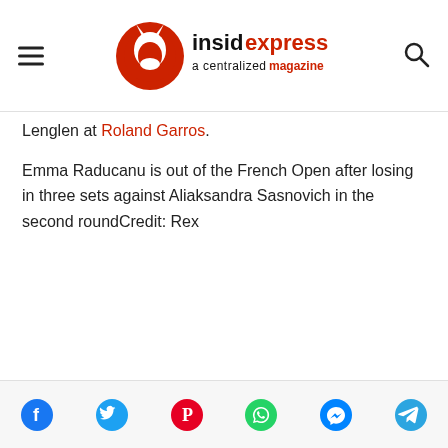insideXpress a centralized magazine
Lenglen at Roland Garros.
Emma Raducanu is out of the French Open after losing in three sets against Aliaksandra Sasnovich in the second roundCredit: Rex
Social share icons: Facebook, Twitter, Pinterest, WhatsApp, Messenger, Telegram